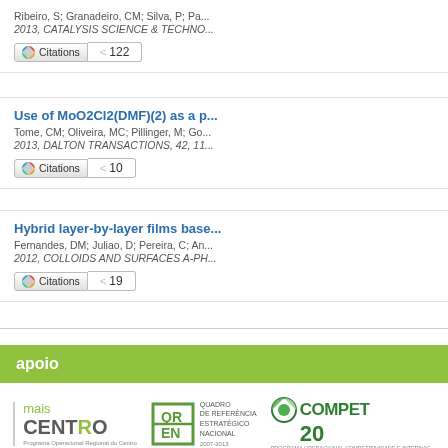Ribeiro, S; Granadeiro, CM; Silva, P; Pa... 2013, CATALYSIS SCIENCE & TECHNO... Citations 122
Use of MoO2Cl2(DMF)(2) as a pr... Tome, CM; Oliveira, MC; Pillinger, M; Gor... 2013, DALTON TRANSACTIONS, 42, 11... Citations 10
Hybrid layer-by-layer films base... Fernandes, DM; Juliao, D; Pereira, C; An... 2012, COLLOIDS AND SURFACES A-PH... Citations 19
apoio
[Figure (logo): mais CENTRO - Programa Operacional Regional do Centro logo]
[Figure (logo): QREN - Quadro de Referência Estratégico Nacional logo]
[Figure (logo): COMPETE 20 - Programa Operacional Competitividade e Internacionalização logo]